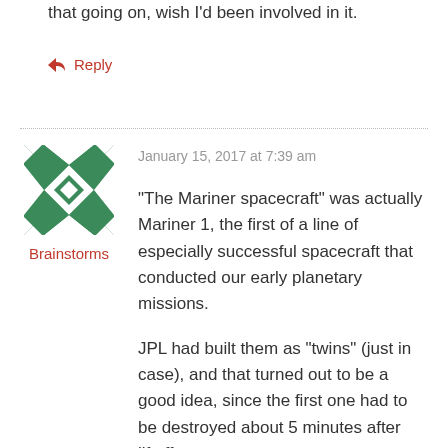that going on, wish I'd been involved in it.
↳ Reply
January 15, 2017 at 7:39 am
[Figure (illustration): Green and white geometric quilt-pattern avatar icon]
Brainstorms
“The Mariner spacecraft” was actually Mariner 1, the first of a line of especially successful spacecraft that conducted our early planetary missions.

JPL had built them as “twins” (just in case), and that turned out to be a good idea, since the first one had to be destroyed about 5 minutes after liftoff.

The second one had the problems corrected, and became the first spacecraft to fly by another planet.